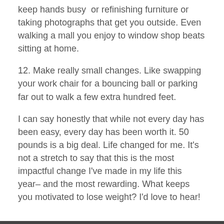keep hands busy or refinishing furniture or taking photographs that get you outside. Even walking a mall you enjoy to window shop beats sitting at home.
12. Make really small changes. Like swapping your work chair for a bouncing ball or parking far out to walk a few extra hundred feet.
I can say honestly that while not every day has been easy, every day has been worth it. 50 pounds is a big deal. Life changed for me. It's not a stretch to say that this is the most impactful change I've made in my life this year– and the most rewarding. What keeps you motivated to lose weight? I'd love to hear!